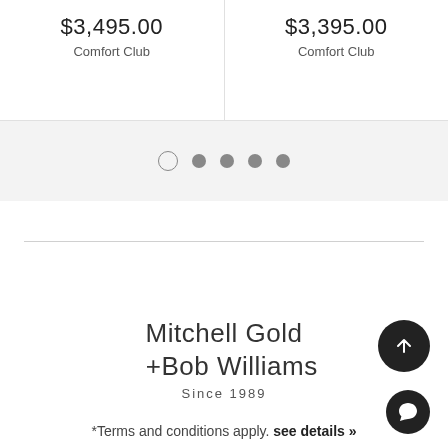$3,495.00
Comfort Club
$3,395.00
Comfort Club
[Figure (other): Carousel pagination dots: one open circle and four filled circles]
[Figure (logo): Mitchell Gold +Bob Williams Since 1989 logo]
*Terms and conditions apply. see details »
CUSTOMER CARE